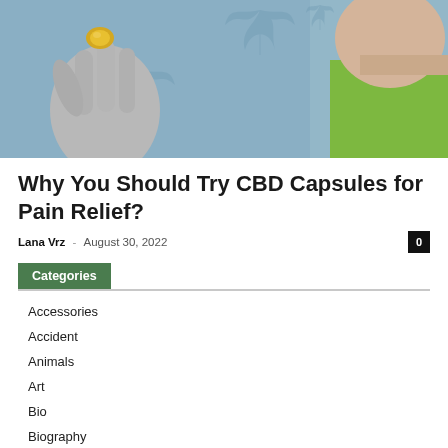[Figure (photo): Person holding a small gold/yellow capsule pill between fingers, with cannabis leaf silhouettes in the background on a blue-grey background, and a person's face/smile visible on the right side.]
Why You Should Try CBD Capsules for Pain Relief?
Lana Vrz - August 30, 2022
Categories
Accessories
Accident
Animals
Art
Bio
Biography